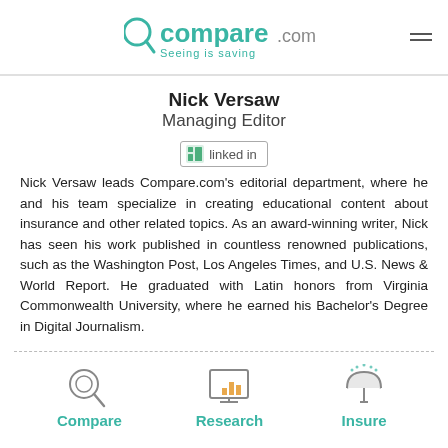Compare.com — Seeing is saving
Nick Versaw
Managing Editor
[Figure (logo): LinkedIn icon/button linking to Nick Versaw's LinkedIn profile]
Nick Versaw leads Compare.com's editorial department, where he and his team specialize in creating educational content about insurance and other related topics. As an award-winning writer, Nick has seen his work published in countless renowned publications, such as the Washington Post, Los Angeles Times, and U.S. News & World Report. He graduated with Latin honors from Virginia Commonwealth University, where he earned his Bachelor's Degree in Digital Journalism.
[Figure (infographic): Three icons at the bottom: Compare (magnifying glass), Research (bar chart on screen), Insure (umbrella)]